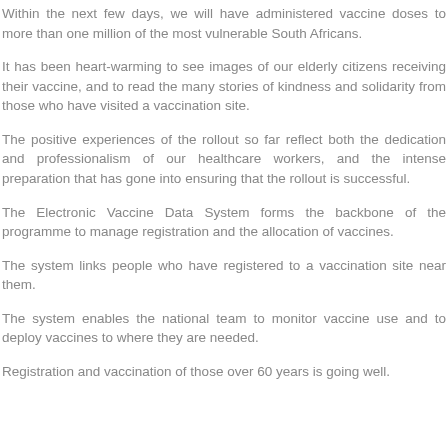Within the next few days, we will have administered vaccine doses to more than one million of the most vulnerable South Africans.
It has been heart-warming to see images of our elderly citizens receiving their vaccine, and to read the many stories of kindness and solidarity from those who have visited a vaccination site.
The positive experiences of the rollout so far reflect both the dedication and professionalism of our healthcare workers, and the intense preparation that has gone into ensuring that the rollout is successful.
The Electronic Vaccine Data System forms the backbone of the programme to manage registration and the allocation of vaccines.
The system links people who have registered to a vaccination site near them.
The system enables the national team to monitor vaccine use and to deploy vaccines to where they are needed.
Registration and vaccination of those over 60 years is going well.